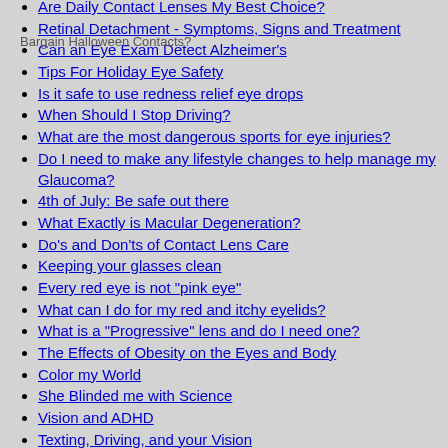Are Daily Contact Lenses My Best Choice?
Bargain Halloween Contacts?
Retinal Detachment - Symptoms, Signs and Treatment
Can an Eye Exam Detect Alzheimer's
Tips For Holiday Eye Safety
Is it safe to use redness relief eye drops
When Should I Stop Driving?
What are the most dangerous sports for eye injuries?
Do I need to make any lifestyle changes to help manage my Glaucoma?
4th of July: Be safe out there
What Exactly is Macular Degeneration?
Do's and Don'ts of Contact Lens Care
Keeping your glasses clean
Every red eye is not "pink eye"
What can I do for my red and itchy eyelids?
What is a "Progressive" lens and do I need one?
The Effects of Obesity on the Eyes and Body
Color my World
She Blinded me with Science
Vision and ADHD
Texting, Driving, and your Vision
Giving Back the Gift of Sight